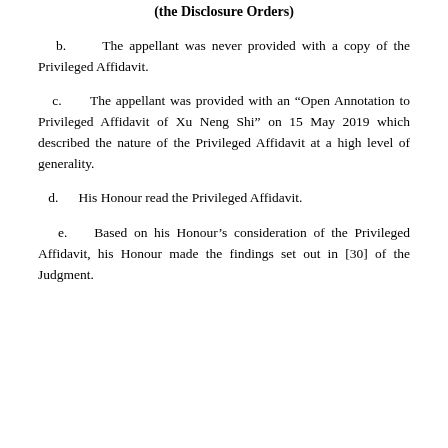(the Disclosure Orders)
b.   The appellant was never provided with a copy of the Privileged Affidavit.
c.   The appellant was provided with an “Open Annotation to Privileged Affidavit of Xu Neng Shi” on 15 May 2019 which described the nature of the Privileged Affidavit at a high level of generality.
d.   His Honour read the Privileged Affidavit.
e.   Based on his Honour’s consideration of the Privileged Affidavit, his Honour made the findings set out in [30] of the Judgment.